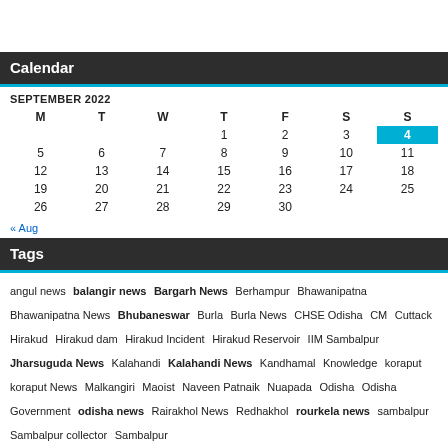Calendar
| M | T | W | T | F | S | S |
| --- | --- | --- | --- | --- | --- | --- |
|  |  |  | 1 | 2 | 3 | 4 |
| 5 | 6 | 7 | 8 | 9 | 10 | 11 |
| 12 | 13 | 14 | 15 | 16 | 17 | 18 |
| 19 | 20 | 21 | 22 | 23 | 24 | 25 |
| 26 | 27 | 28 | 29 | 30 |  |  |
« Aug
Tags
angul news balangir news Bargarh News Berhampur Bhawanipatna Bhawanipatna News Bhubaneswar Burla Burla News CHSE Odisha CM Cuttack Hirakud Hirakud dam Hirakud Incident Hirakud Reservoir IIM Sambalpur Jharsuguda News Kalahandi Kalahandi News Kandhamal Knowledge koraput koraput News Malkangiri Maoist Naveen Patnaik Nuapada Odisha Odisha Government odisha news Rairakhol News Redhakhol rourkela news sambalpur Sambalpur collector Sambalpur